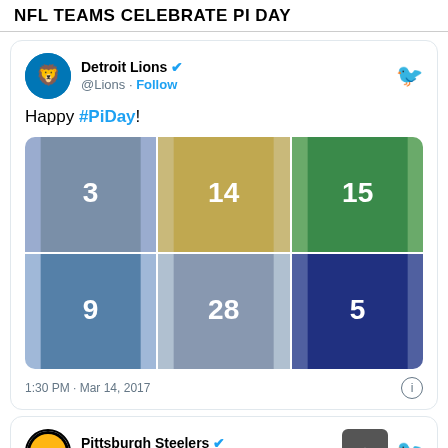NFL TEAMS CELEBRATE PI DAY
[Figure (screenshot): Tweet from Detroit Lions (@Lions) with verified checkmark. Text says 'Happy #PiDay!' with a 6-photo grid of Detroit Lions players including jersey numbers 9 (Stafford), 14, 15, 28, 5, and a player in white. Timestamp: 1:30 PM · Mar 14, 2017.]
[Figure (screenshot): Tweet from Pittsburgh Steelers (@steelers) with verified checkmark. Partial tweet card visible at bottom.]